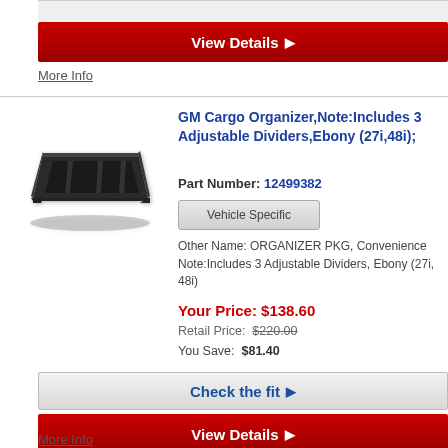View Details ▶
More Info
GM Cargo Organizer,Note:Includes 3 Adjustable Dividers,Ebony (27i,48i);
Part Number: 12499382
Vehicle Specific
Other Name: ORGANIZER PKG, Convenience
Note:Includes 3 Adjustable Dividers, Ebony (27i, 48i)
Your Price: $138.60
Retail Price: $220.00
You Save: $81.40
Check the fit ▶
View Details ▶
More Info
[Figure (photo): Black GM cargo organizer tray with adjustable dividers, shown in perspective view]